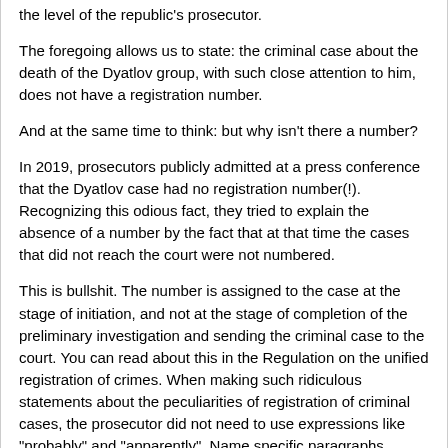the level of the republic's prosecutor.
The foregoing allows us to state: the criminal case about the death of the Dyatlov group, with such close attention to him, does not have a registration number.
And at the same time to think: but why isn't there a number?
In 2019, prosecutors publicly admitted at a press conference that the Dyatlov case had no registration number(!). Recognizing this odious fact, they tried to explain the absence of a number by the fact that at that time the cases that did not reach the court were not numbered.
This is bullshit. The number is assigned to the case at the stage of initiation, and not at the stage of completion of the preliminary investigation and sending the criminal case to the court. You can read about this in the Regulation on the unified registration of crimes. When making such ridiculous statements about the peculiarities of registration of criminal cases, the prosecutor did not need to use expressions like "probably" and "apparently". Name specific paragraphs, articles or points of a specific normative act and do not tread us like fools!
The prosecutors, it seems, to this day, consider the public a bunch of idiots. Only we are not idiots.
The weirdness doesn't end there. The criminal case is missing not only the registration number, but also the reason for its initiation.